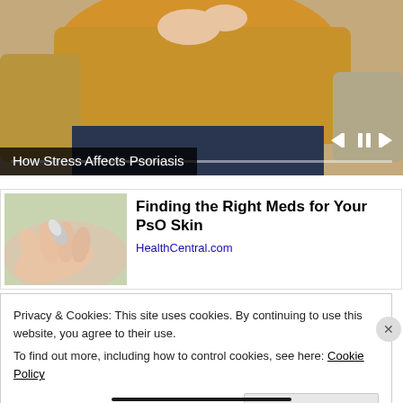[Figure (screenshot): Video player screenshot showing a person in a yellow sweater sitting on a couch, with video playback controls (skip back, pause, skip forward) and a progress bar at the bottom]
How Stress Affects Psoriasis
[Figure (photo): Thumbnail image of a hand holding a small medication capsule/pill against a blurred background]
Finding the Right Meds for Your PsO Skin
HealthCentral.com
Privacy & Cookies: This site uses cookies. By continuing to use this website, you agree to their use.
To find out more, including how to control cookies, see here: Cookie Policy
Close and accept